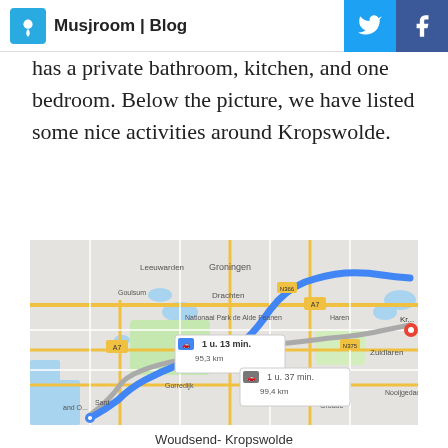Musjroom | Blog
has a private bathroom, kitchen, and one bedroom. Below the picture, we have listed some nice activities around Kropswolde.
[Figure (map): Google Maps showing a driving route from Woudsend to Kropswolde, Netherlands. Two route options shown: 1 u. 13 min. / 95,3 km (blue highlighted route via A7) and 1 u. 37 min. / 99,4 km (alternative grey route). Destination marker at Kropswolde near Groningen.]
Woudsend- Kropswolde